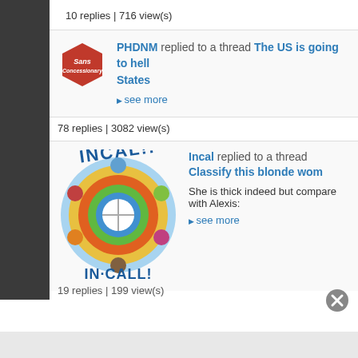10 replies | 716 view(s)
[Figure (logo): SansConcessionary hexagon logo in red with white text]
PHDNM replied to a thread The US is going to hell States
▶ see more
78 replies | 3082 view(s)
[Figure (logo): Incal In-Call circular comic book style logo with colorful characters around a white center]
Incal replied to a thread Classify this blonde wom
She is thick indeed but compare with Alexis:
▶ see more
19 replies | 199 view(s) (partial)